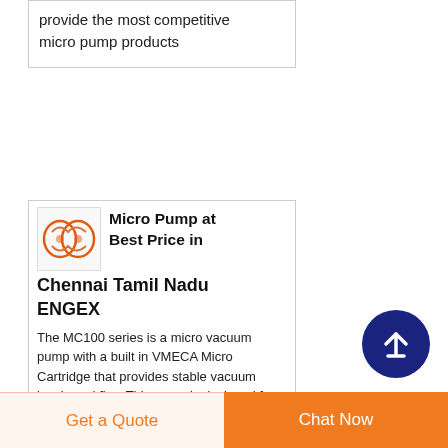provide the most competitive micro pump products
[Figure (logo): ENGEX company logo with orange/red stylized letters on white background]
Micro Pump at Best Price in Chennai Tamil Nadu ENGEX
The MC100 series is a micro vacuum pump with a built in VMECA Micro Cartridge that provides stable vacuum levels and flow This pump is designed for stackable and individual vacuum generators Especially all the components needed for a vacuum system
Get a Quote  Chat Now